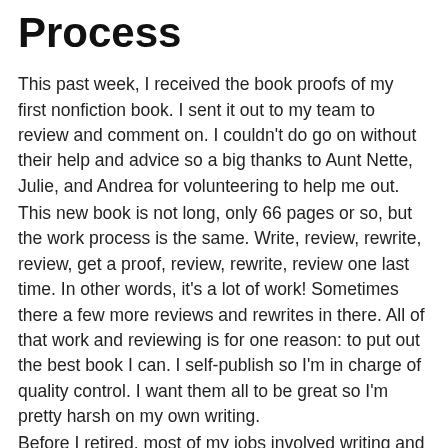Process
This past week, I received the book proofs of my first nonfiction book. I sent it out to my team to review and comment on. I couldn't do go on without their help and advice so a big thanks to Aunt Nette, Julie, and Andrea for volunteering to help me out.
This new book is not long, only 66 pages or so, but the work process is the same. Write, review, rewrite, review, get a proof, review, rewrite, review one last time. In other words, it's a lot of work! Sometimes there a few more reviews and rewrites in there. All of that work and reviewing is for one reason: to put out the best book I can. I self-publish so I'm in charge of quality control. I want them all to be great so I'm pretty harsh on my own writing.
Before I retired, most of my jobs involved writing and editing. I always loved it. When I moved to Boise, I got my dream job of being a technical writer/editor that was the best job ever. It was a hard decision to leave it and retire. Now that I'm on